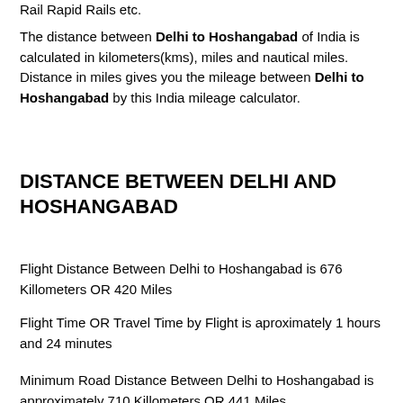Rail Rapid Rails etc.
The distance between Delhi to Hoshangabad of India is calculated in kilometers(kms), miles and nautical miles. Distance in miles gives you the mileage between Delhi to Hoshangabad by this India mileage calculator.
DISTANCE BETWEEN DELHI AND HOSHANGABAD
Flight Distance Between Delhi to Hoshangabad is 676 Killometers OR 420 Miles
Flight Time OR Travel Time by Flight is aproximately 1 hours and 24 minutes
Minimum Road Distance Between Delhi to Hoshangabad is approximately 710 Killometers OR 441 Miles